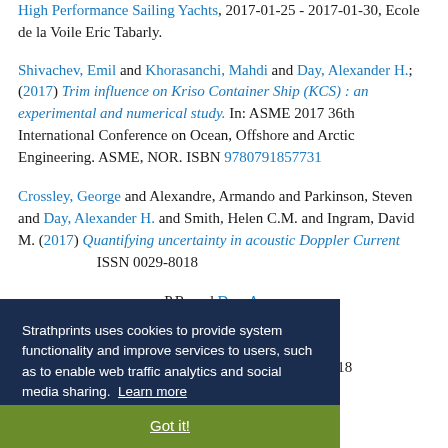High Performance Sailing Yachts, 2017-01-25 - 2017-01-30, Ecole de la Voile Eric Tabarly.
Shivachev, Emil and Khorasanchi, Mahdi and Day, Alexander H.; (2017) Trim influence on Kriso Container Ship (KCS) : an experimental and numerical study. In: ASME 2017 36th International Conference on Ocean, Offshore and Arctic Engineering. ASME, NOR. ISBN 9780791857731
Crossley, George and Alexandre, Armando and Parkinson, Steven and Day, Alexander H. and Smith, Helen C.M. and Ingram, David M. (2017) Quantifying uncertainty in acoustic Doppler Current ... ISSN 0029-8018
... P.R. and Day, A. ... nearshore, ... regular waves. Ocean Engineering, 137. pp. 394-403. ISSN 0029-8018
Strathprints uses cookies to provide system functionality and improve services to users, such as to enable web traffic analytics and social media sharing. Learn more
Got it!